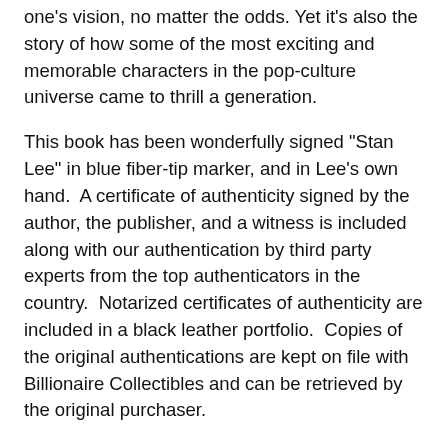one's vision, no matter the odds. Yet it's also the story of how some of the most exciting and memorable characters in the pop-culture universe came to thrill a generation.
This book has been wonderfully signed "Stan Lee" in blue fiber-tip marker, and in Lee's own hand.  A certificate of authenticity signed by the author, the publisher, and a witness is included along with our authentication by third party experts from the top authenticators in the country.  Notarized certificates of authenticity are included in a black leather portfolio.  Copies of the original authentications are kept on file with Billionaire Collectibles and can be retrieved by the original purchaser.
Easton Press books are bound in genuine premium leather and come with a permanent satin ribbon page marker.  The spines of these luxurious books are accented in 22-karat gold and are hubbed with traditional raised rings.  Each unique binding is decorated with a deeply inlaid design of 22-karat gold.  The page ends are gilded in